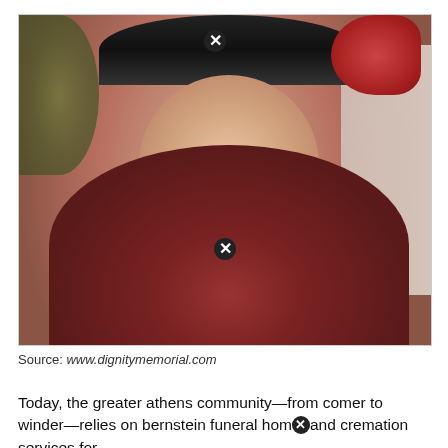[Figure (photo): Portrait photo of an elderly man wearing glasses, a dark cap/hat, and a dark red/maroon sweater, seated indoors with greenery visible in the background. Two circular close/delete button overlays appear on the image.]
Source: www.dignitymemorial.com
Today, the greater athens community—from comer to winder—relies on bernstein funeral home and cremation services for